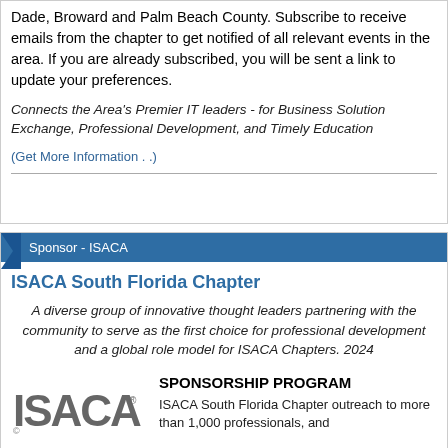Dade, Broward and Palm Beach County. Subscribe to receive emails from the chapter to get notified of all relevant events in the area. If you are already subscribed, you will be sent a link to update your preferences.
Connects the Area's Premier IT leaders - for Business Solution Exchange, Professional Development, and Timely Education
(Get More Information . .)
Sponsor - ISACA
ISACA South Florida Chapter
A diverse group of innovative thought leaders partnering with the community to serve as the first choice for professional development and a global role model for ISACA Chapters. 2024
SPONSORSHIP PROGRAM
ISACA South Florida Chapter outreach to more than 1,000 professionals, and partner organizations which represent a range of